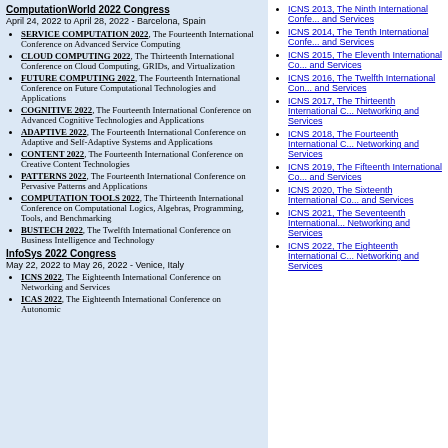ComputationWorld 2022 Congress
April 24, 2022 to April 28, 2022 - Barcelona, Spain
SERVICE COMPUTATION 2022, The Fourteenth International Conference on Advanced Service Computing
CLOUD COMPUTING 2022, The Thirteenth International Conference on Cloud Computing, GRIDs, and Virtualization
FUTURE COMPUTING 2022, The Fourteenth International Conference on Future Computational Technologies and Applications
COGNITIVE 2022, The Fourteenth International Conference on Advanced Cognitive Technologies and Applications
ADAPTIVE 2022, The Fourteenth International Conference on Adaptive and Self-Adaptive Systems and Applications
CONTENT 2022, The Fourteenth International Conference on Creative Content Technologies
PATTERNS 2022, The Fourteenth International Conference on Pervasive Patterns and Applications
COMPUTATION TOOLS 2022, The Thirteenth International Conference on Computational Logics, Algebras, Programming, Tools, and Benchmarking
BUSTECH 2022, The Twelfth International Conference on Business Intelligence and Technology
InfoSys 2022 Congress
May 22, 2022 to May 26, 2022 - Venice, Italy
ICNS 2022, The Eighteenth International Conference on Networking and Services
ICAS 2022, The Eighteenth International Conference on Autonomic
ICNS 2013, The Ninth International Conference on Networking and Services
ICNS 2014, The Tenth International Conference on Networking and Services
ICNS 2015, The Eleventh International Conference on Networking and Services
ICNS 2016, The Twelfth International Conference on Networking and Services
ICNS 2017, The Thirteenth International Conference on Networking and Services
ICNS 2018, The Fourteenth International Conference on Networking and Services
ICNS 2019, The Fifteenth International Conference on Networking and Services
ICNS 2020, The Sixteenth International Conference on Networking and Services
ICNS 2021, The Seventeenth International Conference on Networking and Services
ICNS 2022, The Eighteenth International Conference on Networking and Services